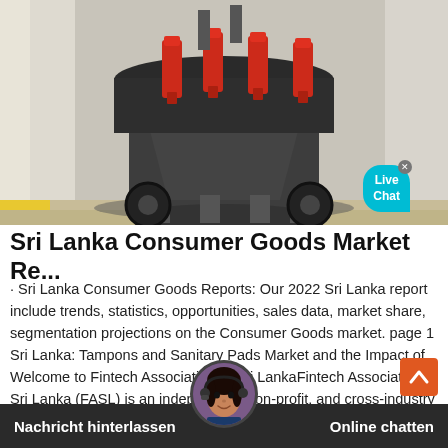[Figure (photo): Industrial machinery (cone crusher or similar heavy equipment) with red hydraulic cylinders on top, dark grey body, large wheels, shown in an indoor setting]
Sri Lanka Consumer Goods Market Re...
· Sri Lanka Consumer Goods Reports: Our 2022 Sri Lanka report include trends, statistics, opportunities, sales data, market share, segmentation projections on the Consumer Goods market. page 1 Sri Lanka: Tampons and Sanitary Pads Market and the Impact ofWelcome to Fintech Association of Sri LankaFintech Association of Sri Lanka (FASL) is an independent, non-profit, and cross-industry
Nachricht hinterlassen    Online chatten